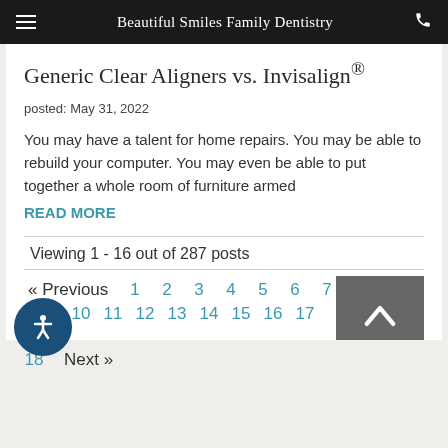Beautiful Smiles Family Dentistry
Generic Clear Aligners vs. Invisalign®
posted: May 31, 2022
You may have a talent for home repairs. You may be able to rebuild your computer. You may even be able to put together a whole room of furniture armed
READ MORE
Viewing 1 - 16 out of 287 posts
« Previous  1  2  3  4  5  6  7  8
9  10  11  12  13  14  15  16  17
18  Next »